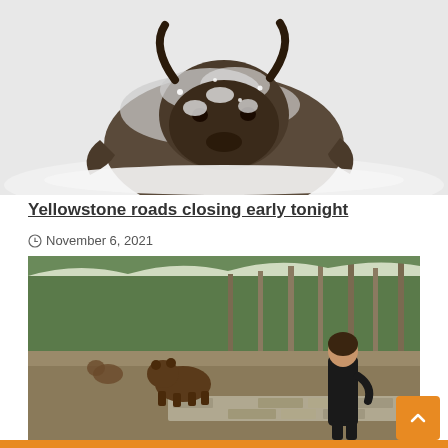[Figure (photo): A snow-covered bison lying in white snow, facing the camera, with frost on its fur and horns.]
Yellowstone roads closing early tonight
November 6, 2021
[Figure (photo): A person standing near a stone wall outdoors with a brown bear visible in the background and a forested hillside. A second bear is partially visible further back.]